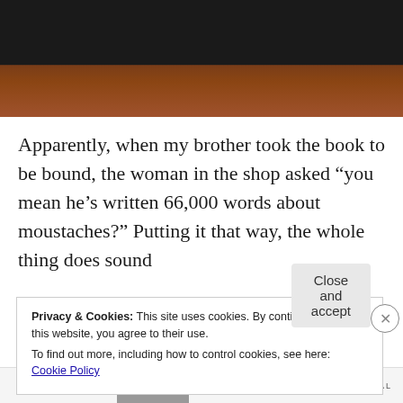[Figure (photo): Top portion of a dark-covered book resting on a wooden surface, viewed from above.]
Apparently, when my brother took the book to be bound, the woman in the shop asked “you mean he’s written 66,000 words about moustaches?” Putting it that way, the whole thing does sound
Privacy & Cookies: This site uses cookies. By continuing to use this website, you agree to their use.
To find out more, including how to control cookies, see here: Cookie Policy
JOURNAL